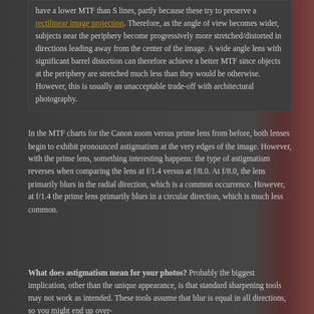have a lower MTF than S lines, partly because these try to preserve a rectilinear image projection. Therefore, as the angle of view becomes wider, subjects near the periphery become progressively more stretched/distorted in directions leading away from the center of the image. A wide angle lens with significant barrel distortion can therefore achieve a better MTF since objects at the periphery are stretched much less than they would be otherwise. However, this is usually an unacceptable trade-off with architectural photography.
In the MTF charts for the Canon zoom versus prime lens from before, both lenses begin to exhibit pronounced astigmatism at the very edges of the image. However, with the prime lens, something interesting happens: the type of astigmatism reverses when comparing the lens at f/1.4 versus at f/8.0. At f/8.0, the lens primarily blurs in the radial direction, which is a common occurrence. However, at f/1.4 the prime lens primarily blurs in a circular direction, which is much less common.
What does astigmatism mean for your photos? Probably the biggest implication, other than the unique appearance, is that standard sharpening tools may not work as intended. These tools assume that blur is equal in all directions, so you might end up over-